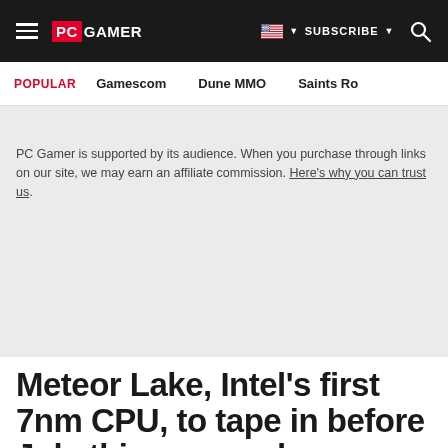PC GAMER | SUBSCRIBE
POPULAR | Gamescom | Dune MMO | Saints Ro
PC Gamer is supported by its audience. When you purchase through links on our site, we may earn an affiliate commission. Here's why you can trust us.
Meteor Lake, Intel's first 7nm CPU, to tape in before July this year and